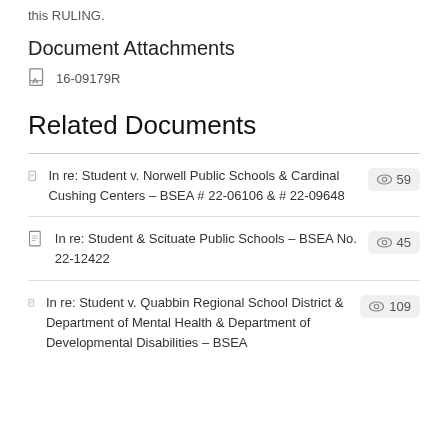this RULING.
Document Attachments
16-09179R
Related Documents
In re: Student v. Norwell Public Schools & Cardinal Cushing Centers – BSEA # 22-06106 & # 22-09648 — 59 views
In re: Student & Scituate Public Schools – BSEA No. 22-12422 — 45 views
In re: Student v. Quabbin Regional School District & Department of Mental Health & Department of Developmental Disabilities – BSEA — 109 views